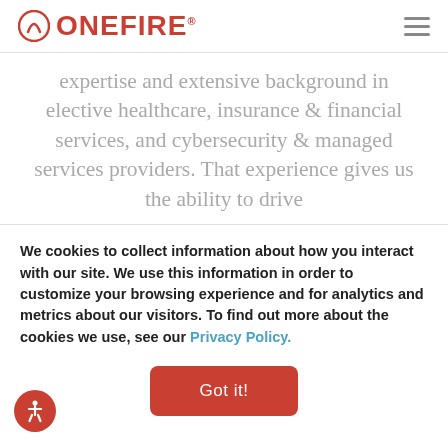ONEFIRE
expertise and extensive background in elective healthcare, insurance & financial services, and cybersecurity & managed services providers. That experience gives us the ability to drive
We cookies to collect information about how you interact with our site. We use this information in order to customize your browsing experience and for analytics and metrics about our visitors. To find out more about the cookies we use, see our Privacy Policy.
Got it!